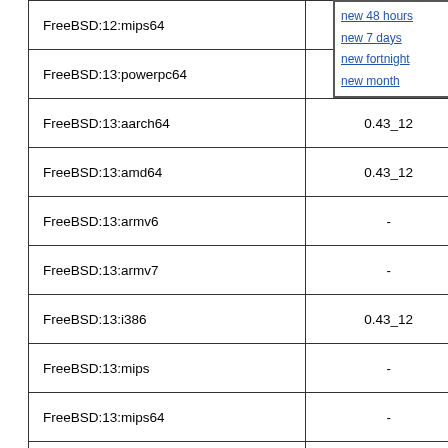|  |  |  |
| --- | --- | --- |
| FreeBSD:12:mips64 | - | - |
| FreeBSD:13:powerpc64 | - | - |
| FreeBSD:13:aarch64 | 0.43_12 | 0.43_12 |
| FreeBSD:13:amd64 | 0.43_12 | 0.43_12 |
| FreeBSD:13:armv6 | - | - |
| FreeBSD:13:armv7 | - | - |
| FreeBSD:13:i386 | 0.43_12 | 0.43_12 |
| FreeBSD:13:mips | - | - |
| FreeBSD:13:mips64 | - | - |
| FreeBSD:13:powerpc64 | - | - |
| FreeBSD:13:riscv64 | - | - |
| FreeBSD:14:aarch64 | 0.43_12 | - |
| FreeBSD:14:amd64 | 0.43_12 | - |
| FreeBSD:14:armv6 | - | - |
| FreeBSD:14:armv7 |  |  |
new 48 hours
new 7 days
new fortnight
new month